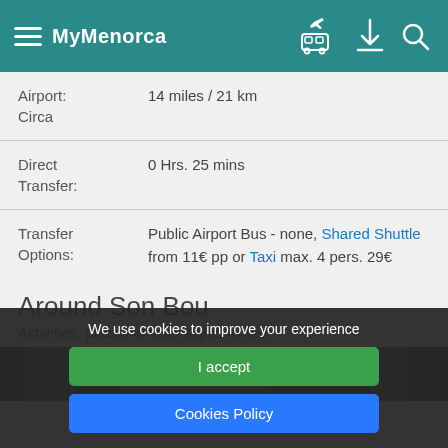MyMenorca
Airport: 14 miles / 21 km Circa
Direct Transfer: 0 Hrs. 25 mins
Transfer Options: Public Airport Bus - none, Shared Shuttle from 11€ pp or Taxi max. 4 pers. 29€
Around Son Bou
Activities, places to visit, sights to see
We use cookies to improve your experience
I accept
Cookies Policy